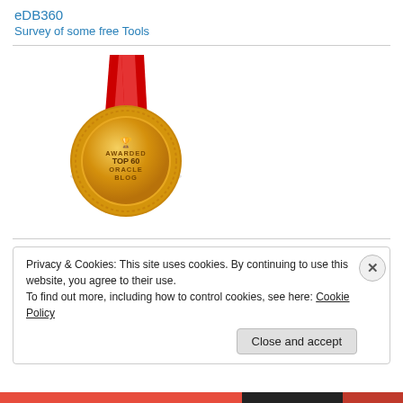eDB360
Survey of some free Tools
[Figure (illustration): Gold medal with red ribbon awarded Top 60 Oracle Blog]
Privacy & Cookies: This site uses cookies. By continuing to use this website, you agree to their use.
To find out more, including how to control cookies, see here: Cookie Policy
Close and accept